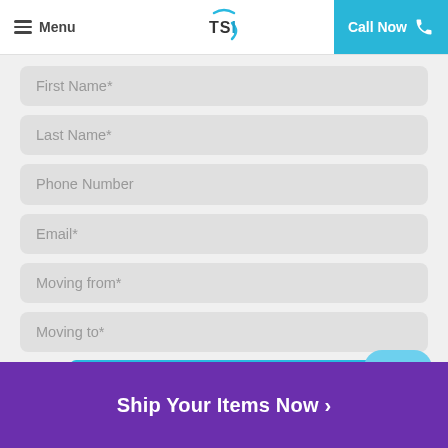[Figure (screenshot): Website header with hamburger menu icon and 'Menu' text on left, TSI logo in center, 'Call Now' button with phone icon on right in teal/cyan background]
First Name*
Last Name*
Phone Number
Email*
Moving from*
Moving to*
Next
Ship Your Items Now ›